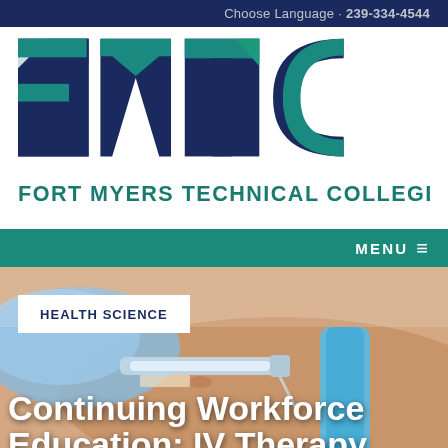Choose Language · 239-334-4544
[Figure (logo): FMTC Fort Myers Technical College logo with large blue and teal block letters FMTC above the full name in teal.]
MENU ≡
[Figure (photo): Close-up photo of a healthcare worker wearing blue gloves inserting an IV needle into a patient's arm with a blue tourniquet band visible.]
HEALTH SCIENCE
Continuing Workforce Education: IV Therapy